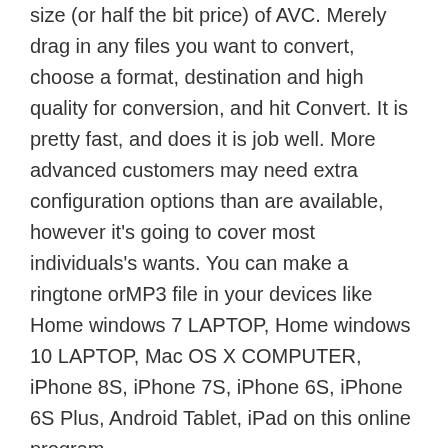size (or half the bit price) of AVC. Merely drag in any files you want to convert, choose a format, destination and high quality for conversion, and hit Convert. It is pretty fast, and does it is job well. More advanced customers may need extra configuration options than are available, however it's going to cover most individuals's wants. You can make a ringtone orMP3 file in your devices like Home windows 7 LAPTOP, Home windows 10 LAPTOP, Mac OS X COMPUTER, iPhone 8S, iPhone 7S, iPhone 6S, iPhone 6S Plus, Android Tablet, iPad on this online program.
Thanks for your explanations on the right way to convert Ape files. Very helpful. Nicely finished. Here is